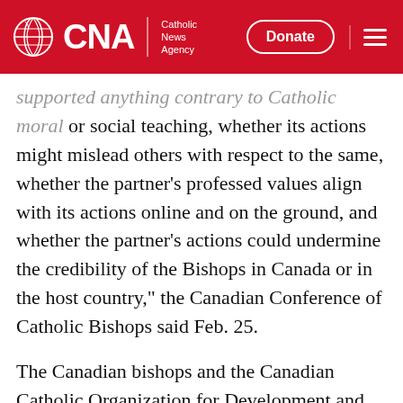CNA | Catholic News Agency — Donate
supported anything contrary to Catholic moral or social teaching, whether its actions might mislead others with respect to the same, whether the partner's professed values align with its actions online and on the ground, and whether the partner's actions could undermine the credibility of the Bishops in Canada or in the host country," the Canadian Conference of Catholic Bishops said Feb. 25.
The Canadian bishops and the Canadian Catholic Organization for Development and Peace – Caritas Canada reviewed the CCODP's international partner organizations to which it